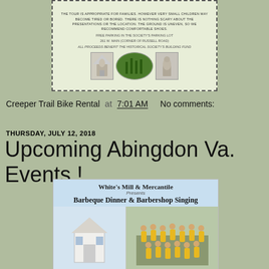[Figure (photo): Historical Society event flyer with text about cemetery tour, parking info, proceeds for building fund, and three small images of cemetery monuments/statues]
Creeper Trail Bike Rental at 7:01 AM   No comments:
THURSDAY, JULY 12, 2018
Upcoming Abingdon Va. Events !
[Figure (photo): White's Mill & Mercantile flyer: Barbeque Dinner & Barbershop Singing event, showing a white building on the left and a group of people in yellow shirts on the right]